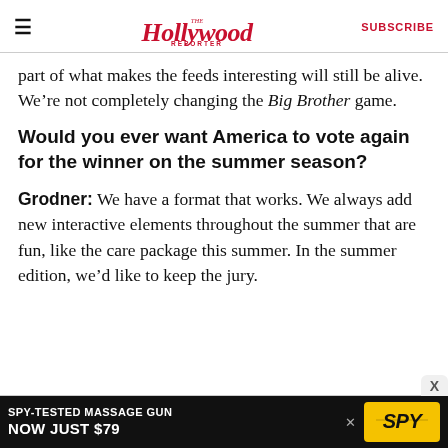The Hollywood Reporter | SUBSCRIBE
part of what makes the feeds interesting will still be alive. We’re not completely changing the Big Brother game.
Would you ever want America to vote again for the winner on the summer season?
Grodner: We have a format that works. We always add new interactive elements throughout the summer that are fun, like the care package this summer. In the summer edition, we’d like to keep the jury.
[Figure (other): Advertisement banner: SPY-TESTED MASSAGE GUN NOW JUST $79 with SPY logo]